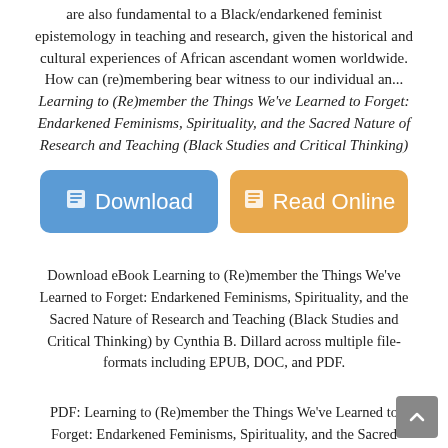are also fundamental to a Black/endarkened feminist epistemology in teaching and research, given the historical and cultural experiences of African ascendant women worldwide. How can (re)membering bear witness to our individual an...
Learning to (Re)member the Things We've Learned to Forget: Endarkened Feminisms, Spirituality, and the Sacred Nature of Research and Teaching (Black Studies and Critical Thinking)
[Figure (other): Two buttons side by side: a blue Download button and an orange Read Online button, each with a book icon]
Download eBook Learning to (Re)member the Things We've Learned to Forget: Endarkened Feminisms, Spirituality, and the Sacred Nature of Research and Teaching (Black Studies and Critical Thinking) by Cynthia B. Dillard across multiple file-formats including EPUB, DOC, and PDF.
PDF: Learning to (Re)member the Things We've Learned to Forget: Endarkened Feminisms, Spirituality, and the Sacred